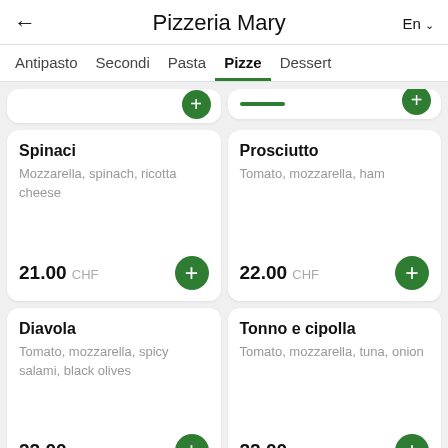Pizzeria Mary
Antipasto  Secondi  Pasta  Pizze  Dessert
Spinaci — Mozzarella, spinach, ricotta cheese — 21.00 CHF
Prosciutto — Tomato, mozzarella, ham — 22.00 CHF
Diavola — Tomato, mozzarella, spicy salami, black olives — 22.00 CHF
Tonno e cipolla — Tomato, mozzarella, tuna, onion — 22.00 CHF